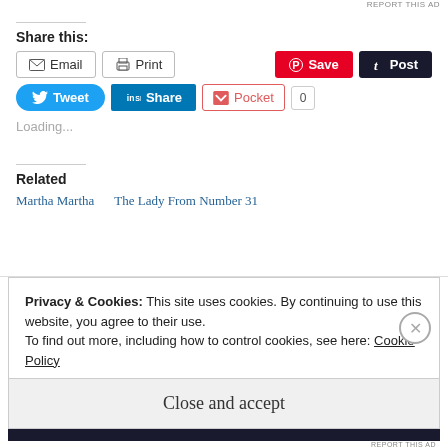REPORT THIS AD
Share this:
[Figure (screenshot): Social sharing buttons: Email, Print, Save (Pinterest), Post (Tumblr), Tweet (Twitter), Share (LinkedIn), Pocket with count 0]
Loading...
Related
Martha Martha
The Lady From Number 31
Privacy & Cookies: This site uses cookies. By continuing to use this website, you agree to their use.
To find out more, including how to control cookies, see here: Cookie Policy
Close and accept
REPORT THIS AD